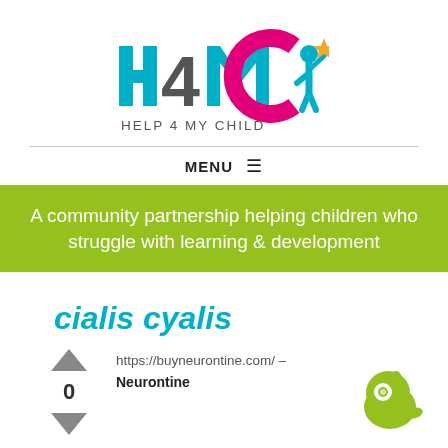[Figure (logo): Help 4 My Child logo with colorful H4MC text and child silhouette reaching for a star]
MENU ≡
A community partnership helping children who struggle with learning & development
cialis cyalis
https://buyneurontine.com/ – Neurontine
[Figure (illustration): Green alien/creature icon in bottom right corner]